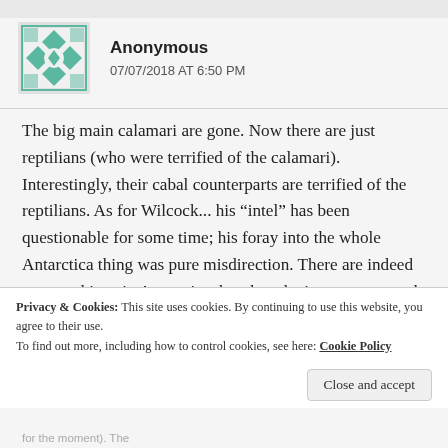↑ Edit
[Figure (illustration): Geometric teal/green mandala-style avatar icon for anonymous commenter]
Anonymous
07/07/2018 AT 6:50 PM
The big main calamari are gone. Now there are just reptilians (who were terrified of the calamari). Interestingly, their cabal counterparts are terrified of the reptilians. As for Wilcock... his “intel” has been questionable for some time; his foray into the whole Antarctica thing was pure misdirection. There are indeed strange things in Antarctica, but they don't matter as much
Privacy & Cookies: This site uses cookies. By continuing to use this website, you agree to their use.
To find out more, including how to control cookies, see here: Cookie Policy
Close and accept
for the moment). The